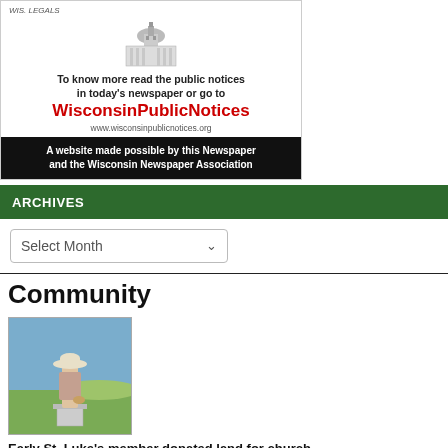[Figure (infographic): Wisconsin Public Notices advertisement with capitol building illustration, red bold WisconsinPublicNotices text, URL www.wisconsinpublicnotices.org, and black footer bar]
ARCHIVES
Select Month
Community
[Figure (photo): Outdoor statue of a person wearing a wide-brimmed hat, viewed from behind, standing on a pedestal in a grassy field]
Early St. Luke's member donated land for church